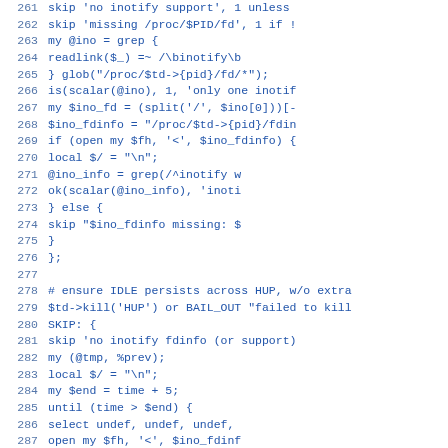Source code listing lines 261-290, Perl test file with inotify/proc filesystem operations